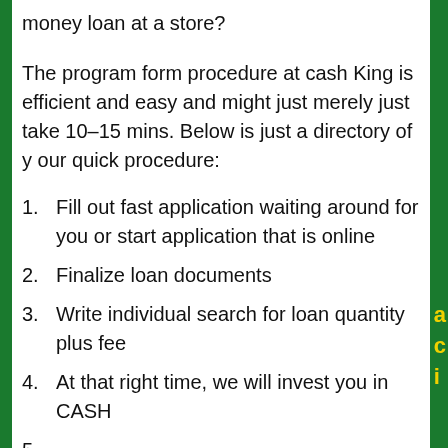money loan at a store?
The program form procedure at cash King is efficient and easy and might just merely just take 10-15 mins. Below is just a directory of your quick procedure:
Fill out fast application waiting around for you or start application that is online
Finalize loan documents
Write individual search for loan quantity plus fee
At that right time, we will invest you in CASH